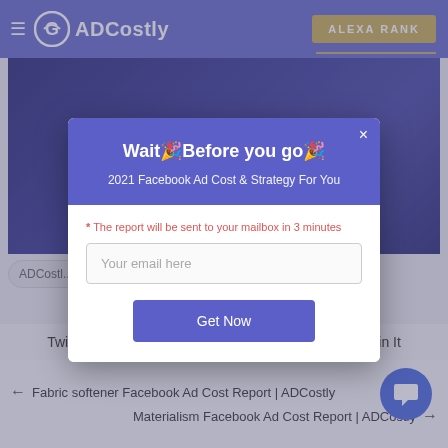ADCostly — ALEXA RANK
[Figure (screenshot): Hero image with Facebook icon, chain/link icon, and arrow icon on dark blue gradient background]
ADCostl...
Wait🎉Before you go🎉
2021 Facebook Ad Cost & Strategy For You
* The report will be sent to your mailbox in 3 minutes
Your email here
Get Now
Twitter  Reddit  Tumblr  Email  Buffer  LinkedIn  Pin It
← Fabric softener Facebook Ad Cost Report | ADCostly
Materialism Facebook Ad Cost Report | ADCostly →